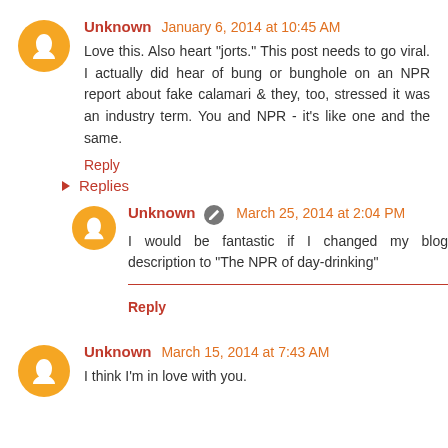Unknown January 6, 2014 at 10:45 AM
Love this. Also heart "jorts." This post needs to go viral. I actually did hear of bung or bunghole on an NPR report about fake calamari & they, too, stressed it was an industry term. You and NPR - it's like one and the same.
Reply
Replies
Unknown March 25, 2014 at 2:04 PM
I would be fantastic if I changed my blog description to "The NPR of day-drinking"
Reply
Unknown March 15, 2014 at 7:43 AM
I think I'm in love with you.